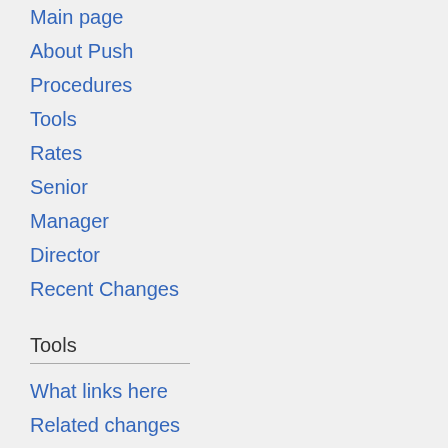Main page
About Push
Procedures
Tools
Rates
Senior
Manager
Director
Recent Changes
Tools
What links here
Related changes
Special pages
Printable version